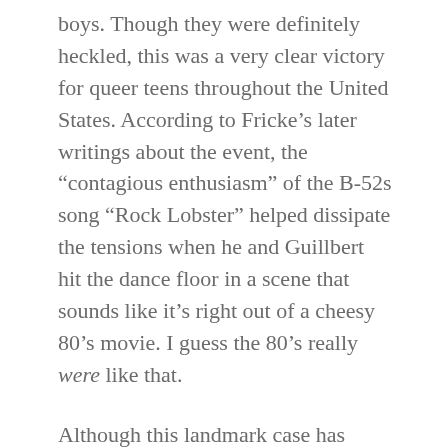boys. Though they were definitely heckled, this was a very clear victory for queer teens throughout the United States. According to Fricke’s later writings about the event, the “contagious enthusiasm” of the B-52s song “Rock Lobster” helped dissipate the tensions when he and Guillbert hit the dance floor in a scene that sounds like it’s right out of a cheesy 80’s movie. I guess the 80’s really were like that.
Although this landmark case has made this a very clear-cut case for public schools — the issue has persisted. Fortunately for queer students unwilling to take “no” for answer, the legal precedent is pretty undeniable. As a result, more and more public schools allow students to bring same-sex dates to school dances. This case was